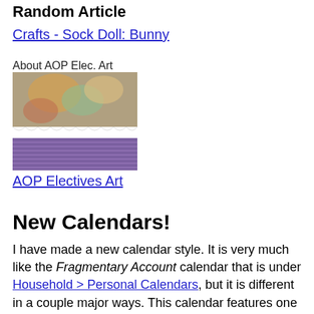Random Article
Crafts - Sock Doll: Bunny
[Figure (photo): Photo of AOP Electives Art crafts page with text 'About AOP Elec. Art' and colorful image showing crafts materials on purple striped background]
AOP Electives Art
New Calendars!
I have made a new calendar style. It is very much like the Fragmentary Account calendar that is under Household > Personal Calendars, but it is different in a couple major ways. This calendar features one month per page and the Mondays are highlighted. For now you can open the files and print them to try them out. Later I will finalize the important decisions regarding this style and the